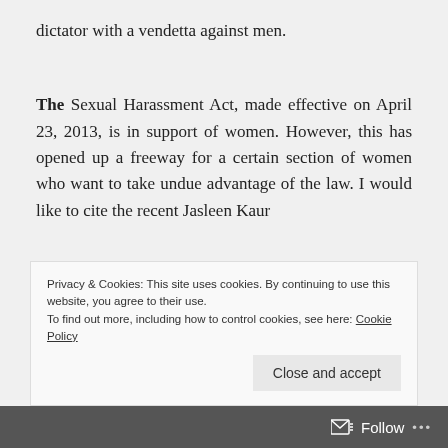dictator with a vendetta against men.
The Sexual Harassment Act, made effective on April 23, 2013, is in support of women. However, this has opened up a freeway for a certain section of women who want to take undue advantage of the law. I would like to cite the recent Jasleen Kaur
Privacy & Cookies: This site uses cookies. By continuing to use this website, you agree to their use.
To find out more, including how to control cookies, see here: Cookie Policy
Close and accept
Follow